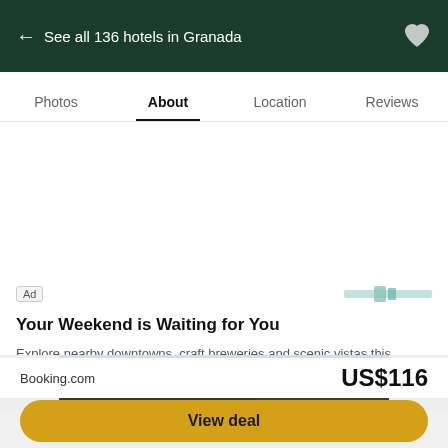← See all 136 hotels in Granada
Photos  About  Location  Reviews
[Figure (screenshot): Advertisement banner area with white background and blank image space. Contains 'Ad' label badge, small advertiser logo, headline 'Your Weekend is Waiting for You', and body text 'Explore nearby downtowns, craft breweries and scenic vistas this weekend. Learn more']
[Figure (photo): Partial photo of a modern building with wooden roof overhang, large glass windows, and partly cloudy sky]
Booking.com
US$116
View deal